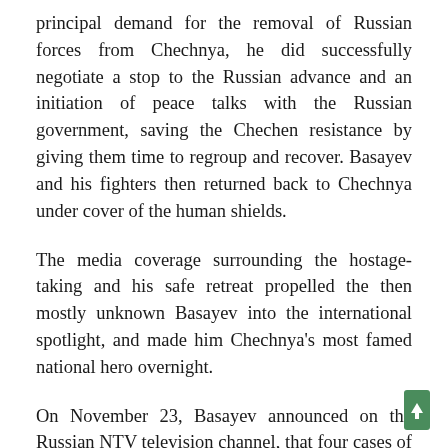principal demand for the removal of Russian forces from Chechnya, he did successfully negotiate a stop to the Russian advance and an initiation of peace talks with the Russian government, saving the Chechen resistance by giving them time to regroup and recover. Basayev and his fighters then returned back to Chechnya under cover of the human shields.
The media coverage surrounding the hostage-taking and his safe retreat propelled the then mostly unknown Basayev into the international spotlight, and made him Chechnya's most famed national hero overnight.
On November 23, Basayev announced on the Russian NTV television channel, that four cases of radioactive material had been hidden around Moscow. Russian emergency teams roamed the city with Geiger counters,